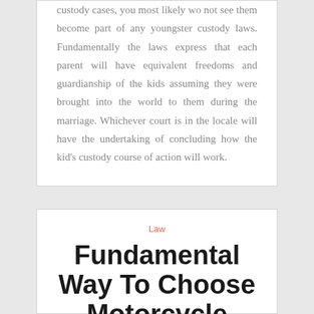custody cases, you most likely wo not see them become part of any youngster custody laws. Fundamentally the laws express that each parent will have equivalent freedoms and guardianship of the kids assuming they were brought into the world to them during the marriage. Whichever court is in the locale will have the undertaking of concluding how the kid's custody course of action will work.
Law
Fundamental Way To Choose Motorcycle Accident Attorney
December 12, 2021 | admin